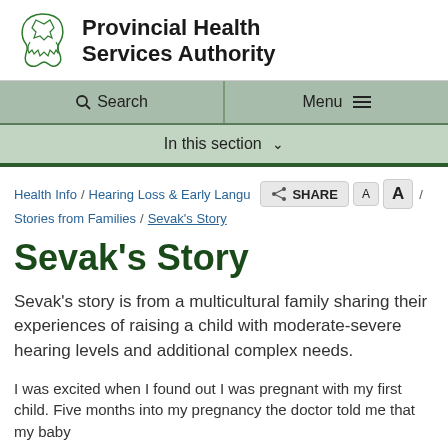[Figure (logo): Provincial Health Services Authority logo with BC map outline in green and bold organization name text]
Search  Menu
In this section
Health Info / Hearing Loss & Early Langu... / Stories from Families / Sevak's Story
Sevak's Story
Sevak's story is from a multicultural family sharing their experiences of raising a child with moderate-severe hearing levels and additional complex needs.
I was excited when I found out I was pregnant with my first child. Five months into my pregnancy the doctor told me that my baby...